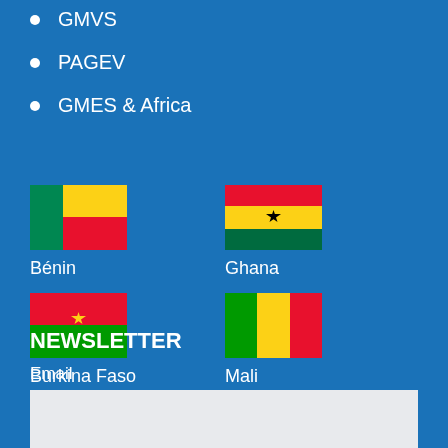GMVS
PAGEV
GMES & Africa
[Figure (illustration): Flag of Bénin - green with yellow square]
Bénin
[Figure (illustration): Flag of Ghana - red, gold, green with black star]
Ghana
[Figure (illustration): Flag of Burkina Faso - red and green with yellow star]
Burkina Faso
[Figure (illustration): Flag of Mali - green, yellow, red vertical stripes]
Mali
[Figure (illustration): Flag of Côte d'Ivoire - orange, white, green vertical stripes]
Côte d'Ivoire
[Figure (illustration): Flag of Togo - red square with white star, green and yellow stripes]
Togo
NEWSLETTER
Email